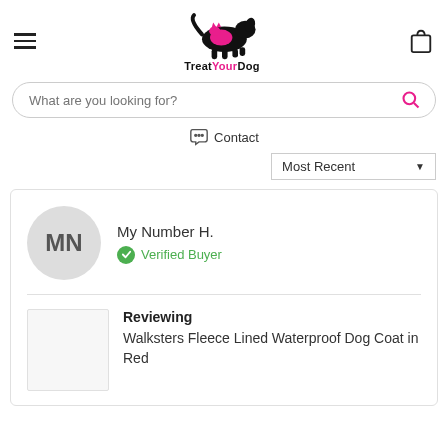[Figure (logo): TreatYourDog logo with dog silhouette in black and pink, text 'TreatYourDog']
What are you looking for?
Contact
Most Recent
My Number H.
Verified Buyer
Reviewing
Walksters Fleece Lined Waterproof Dog Coat in Red